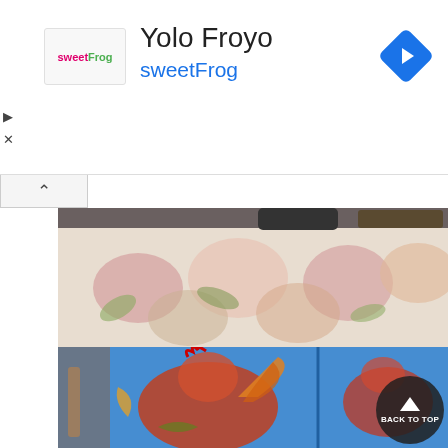[Figure (screenshot): Advertisement banner for Yolo Froyo / sweetFrog frozen yogurt brand. Shows sweetFrog logo on the left, 'Yolo Froyo' as title text, 'sweetFrog' as blue subtitle, and a blue diamond navigation arrow on the right. Play and close buttons visible on far left.]
[Figure (photo): Partial photograph of a colorful floral batik or textile artwork with pink, red, yellow and green flower motifs on a light background, displayed on a dark surface.]
[Figure (photo): Photograph of a large batik textile artwork featuring colorful roosters/fighting cocks in red, orange, and gold on a bright blue background, displayed on a wall. A 'BACK TO TOP' circular button overlay appears in the bottom right corner.]